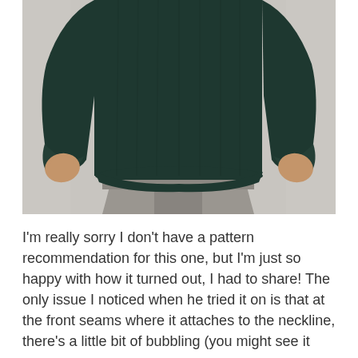[Figure (photo): Back view of a person wearing a dark teal/forest green long-sleeve thermal knit sweater and grey trousers, standing against a light grey background with hands at sides slightly clenched.]
I'm really sorry I don't have a pattern recommendation for this one, but I'm just so happy with how it turned out, I had to share! The only issue I noticed when he tried it on is that at the front seams where it attaches to the neckline, there's a little bit of bubbling (you might see it